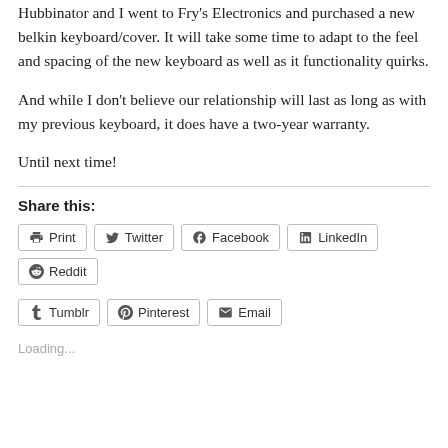Hubbinator and I went to Fry's Electronics and purchased a new belkin keyboard/cover. It will take some time to adapt to the feel and spacing of the new keyboard as well as it functionality quirks.
And while I don't believe our relationship will last as long as with my previous keyboard, it does have a two-year warranty.
Until next time!
Share this:
Loading...